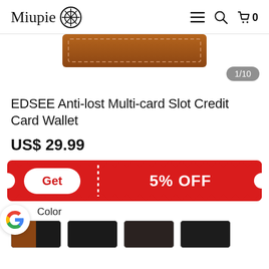Miupie [logo]
[Figure (photo): Partial view of a brown leather wallet product image, showing top edge. Image counter badge shows 1/10.]
EDSEE Anti-lost Multi-card Slot Credit Card Wallet
US$ 29.99
[Figure (infographic): Red coupon ticket with 'Get' button on left and '5% OFF' text on right, separated by a dotted divider line.]
Color
[Figure (photo): Four color swatch thumbnail images of the wallet product in different colors.]